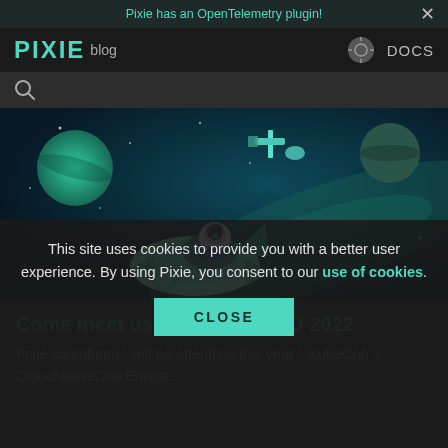Pixie has an OpenTelemetry plugin!
PIXIE blog  DOCS
[Figure (illustration): Animated illustration of an astronaut in a spaceship flying through a colorful space scene with planets, a satellite, and a glowing nebula on a dark teal background.]
Come meet us at KubeCon EU 2022
Pixie contributors will be attending this year's KubeCon + CloudNativeCon Europe...
This site uses cookies to provide you with a better user experience. By using Pixie, you consent to our use of cookies.